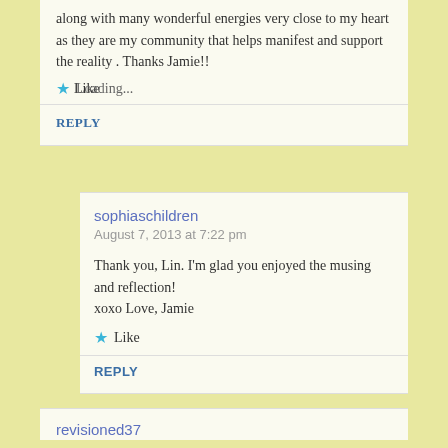along with many wonderful energies very close to my heart as they are my community that helps manifest and support the reality . Thanks Jamie!!
Like · Loading...
REPLY
sophiaschildren
August 7, 2013 at 7:22 pm
Thank you, Lin. I'm glad you enjoyed the musing and reflection!
xoxo Love, Jamie
Like
REPLY
revisioned37